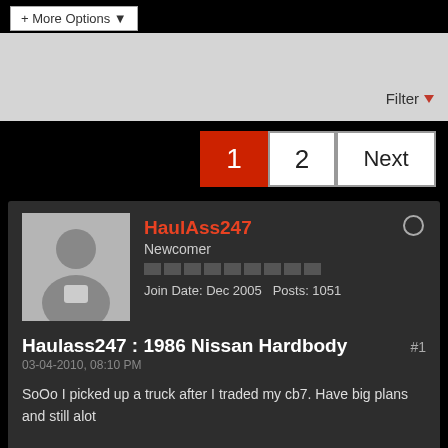+ More Options
Filter
1  2  Next
HaulAss247
Newcomer
Join Date: Dec 2005  Posts: 1051
Haulass247 : 1986 Nissan Hardbody
03-04-2010, 08:10 PM
SoOo I picked up a truck after I traded my cb7. Have big plans and still alot of work ahead of me.....but I love this truck so its worth it.
Engine:
Originally Z24( sohc 2.4litre)
5 speed trans.
Exterior: